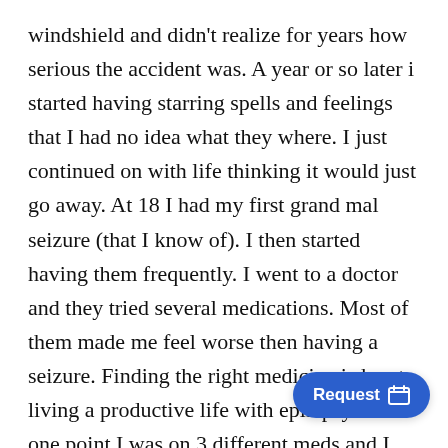windshield and didn't realize for years how serious the accident was. A year or so later i started having starring spells and feelings that I had no idea what they where. I just continued on with life thinking it would just go away. At 18 I had my first grand mal seizure (that I know of). I then started having them frequently. I went to a doctor and they tried several medications. Most of them made me feel worse then having a seizure. Finding the right medicine is key to living a productive life with epilepsy. At one point I was on 3 different meds and I felt like a zombie. Its definitely no way to live. I finally found some medicines that could cont seizures while i'm awake. My seizures now confined to my sleep. I have 1 or 2 every